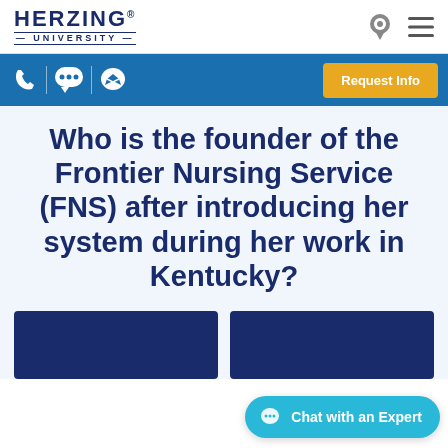[Figure (logo): Herzing University logo with location pin and hamburger menu icons in top navigation bar]
[Figure (screenshot): Blue toolbar with phone, chat, and messenger icons, and a yellow Request Info button]
Who is the founder of the Frontier Nursing Service (FNS) after introducing her system during her work in Kentucky?
[Figure (screenshot): Two dark blue answer card boxes partially visible at bottom of page]
[Figure (screenshot): Chat with an Expert teal button in lower right corner]